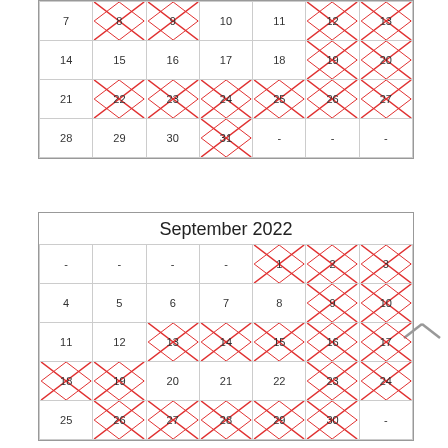[Figure (other): Partial month calendar (end of August 2022) showing rows for weeks with days 7-13, 14-20, 21-27, 28-31 and placeholders. Many dates are crossed out with red X marks.]
[Figure (other): September 2022 calendar grid with title. Various dates crossed out with red X marks including 1,2,3,9,10,13,14,15,16,17,18,19,23,24,26,27,28,29 etc.]